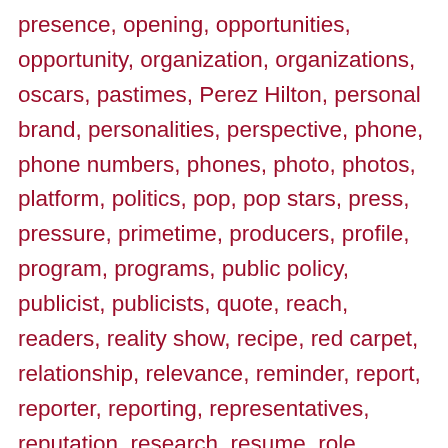presence, opening, opportunities, opportunity, organization, organizations, oscars, pastimes, Perez Hilton, personal brand, personalities, perspective, phone, phone numbers, phones, photo, photos, platform, politics, pop, pop stars, press, pressure, primetime, producers, profile, program, programs, public policy, publicist, publicists, quote, reach, readers, reality show, recipe, red carpet, relationship, relevance, reminder, report, reporter, reporting, representatives, reputation, research, resume, role, rumors, screenings, scripts, Selena Gomez, sensation, show, shows, sister-in-law, social media, Social Media Week, social network, sources, space